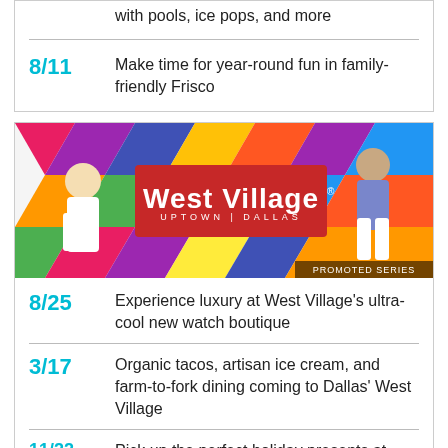with pools, ice pops, and more
8/11  Make time for year-round fun in family-friendly Frisco
[Figure (photo): West Village Uptown Dallas promotional banner with two people posing in front of a colorful geometric wall, with a red West Village logo overlay and 'PROMOTED SERIES' text]
8/25  Experience luxury at West Village's ultra-cool new watch boutique
3/17  Organic tacos, artisan ice cream, and farm-to-fork dining coming to Dallas' West Village
11/22  Pick up the perfect holiday presents at Dallas' West Village